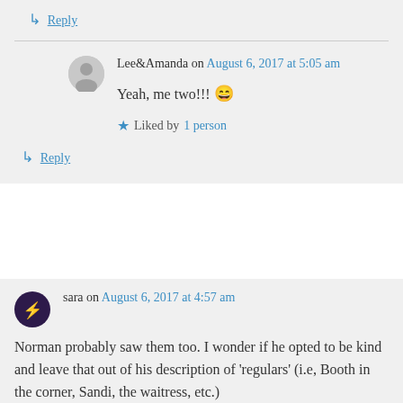↳ Reply
Lee&Amanda on August 6, 2017 at 5:05 am
Yeah, me two!!! 😄
★ Liked by 1 person
↳ Reply
sara on August 6, 2017 at 4:57 am
Norman probably saw them too. I wonder if he opted to be kind and leave that out of his description of 'regulars' (i.e, Booth in the corner, Sandi, the waitress, etc.)